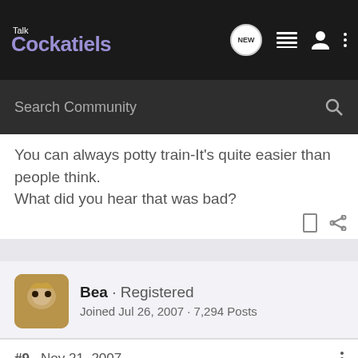Talk Cockatiels
Search Community
You can always potty train-It's quite easier than people think. What did you hear that was bad?
Bea · Registered
Joined Jul 26, 2007 · 7,294 Posts
#9 · Nov 21, 2007